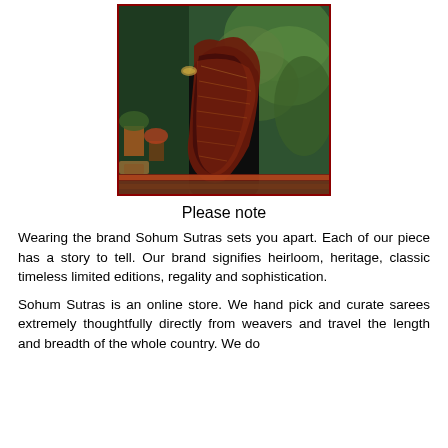[Figure (photo): A person wearing a black saree with an ornate red and copper patterned pallu/border, standing outdoors among green plants and potted flowers. The saree has intricate woven designs along the border.]
Please note
Wearing the brand Sohum Sutras sets you apart. Each of our piece has a story to tell. Our brand signifies heirloom, heritage, classic timeless limited editions, regality and sophistication.
Sohum Sutras is an online store. We hand pick and curate sarees extremely thoughtfully directly from weavers and travel the length and breadth of the whole country. We do